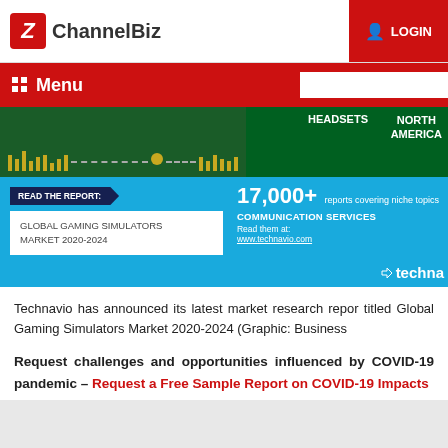ChannelBiz | LOGIN
[Figure (screenshot): ChannelBiz website navigation banner with Menu and search box in red nav bar, and Technavio gaming simulators market report advertisement banner below]
Technavio has announced its latest market research report titled Global Gaming Simulators Market 2020-2024 (Graphic: Business Wire)
Request challenges and opportunities influenced by COVID-19 pandemic – Request a Free Sample Report on COVID-19 Impacts